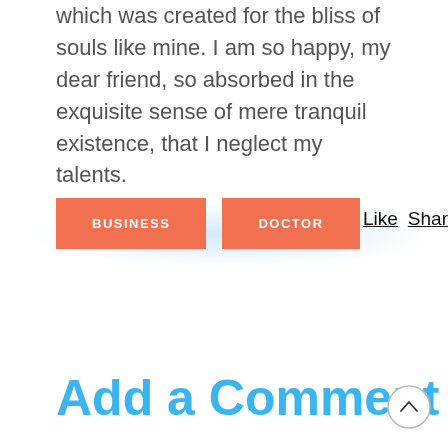which was created for the bliss of souls like mine. I am so happy, my dear friend, so absorbed in the exquisite sense of mere tranquil existence, that I neglect my talents.
BUSINESS
DOCTOR
Like   Share
Add a Comment